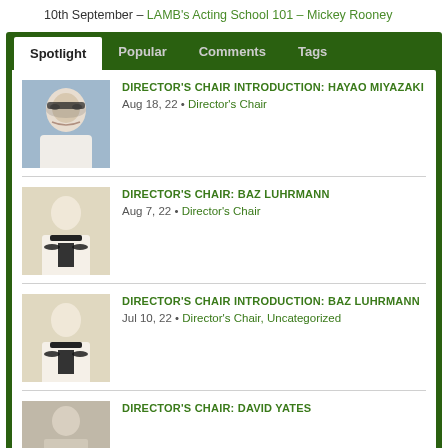10th September – LAMB's Acting School 101 – Mickey Rooney
DIRECTOR'S CHAIR INTRODUCTION: HAYAO MIYAZAKI
Aug 18, 22 • Director's Chair
DIRECTOR'S CHAIR: BAZ LUHRMANN
Aug 7, 22 • Director's Chair
DIRECTOR'S CHAIR INTRODUCTION: BAZ LUHRMANN
Jul 10, 22 • Director's Chair, Uncategorized
DIRECTOR'S CHAIR: DAVID YATES